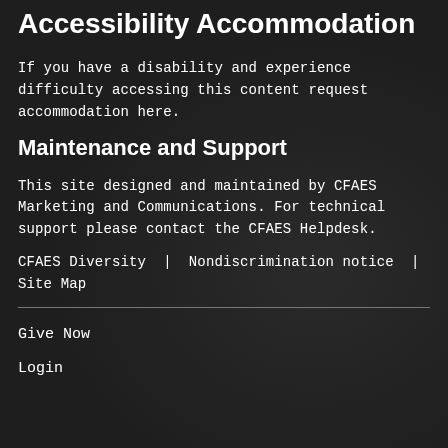Accessibility Accommodation
If you have a disability and experience difficulty accessing this content request accommodation here.
Maintenance and Support
This site designed and maintained by CFAES Marketing and Communications. For technical support please contact the CFAES Helpdesk.
CFAES Diversity | Nondiscrimination notice | Site Map
Give Now
Login